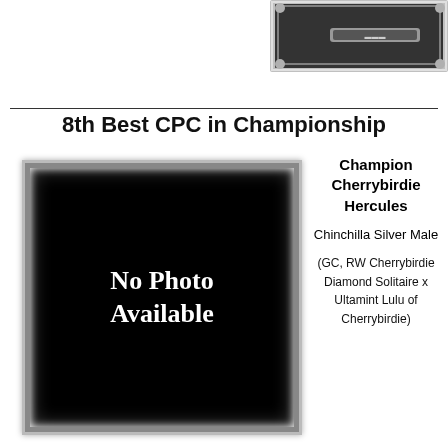[Figure (photo): Decorative silver frame photo placeholder at top of page, partially cropped]
8th Best CPC in Championship
[Figure (photo): Black framed image with silver decorative border showing 'No Photo Available' text in white]
Champion Cherrybirdie Hercules
Chinchilla Silver Male
(GC, RW Cherrybirdie Diamond Solitaire x Ultamint Lulu of Cherrybirdie)